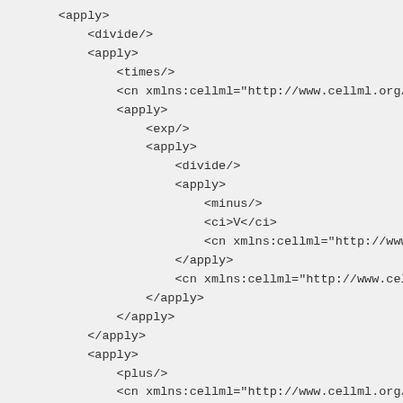XML/CellML code snippet showing nested <apply>, <divide/>, <times/>, <exp/>, <minus/>, <plus/>, <ci>, and <cn> elements with xmlns:cellml attributes